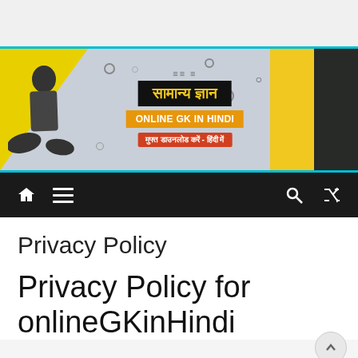[Figure (illustration): Website banner for Online GK in Hindi (onlineGKinHindi) showing a girl sitting cross-legged on the left, a yellow background on left, grey center with Hindi text 'सामान्य ज्ञान' in black box with yellow text, orange banner 'ONLINE GK IN HINDI', red banner 'मुफ्त डाउनलोड करें - हिंदी में', yellow-dark right side with laptop image, decorative dots, cyan border top and bottom]
[Figure (screenshot): Dark navigation bar with white home icon, hamburger menu icon on left, and search icon and shuffle/random icon on right]
Privacy Policy
Privacy Policy for onlineGKinHindi